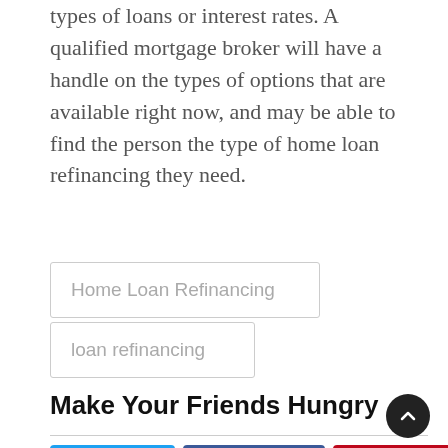types of loans or interest rates. A qualified mortgage broker will have a handle on the types of options that are available right now, and may be able to find the person the type of home loan refinancing they need.
Home Loan Refinancing
loan refinancing
Make Your Friends Hungry